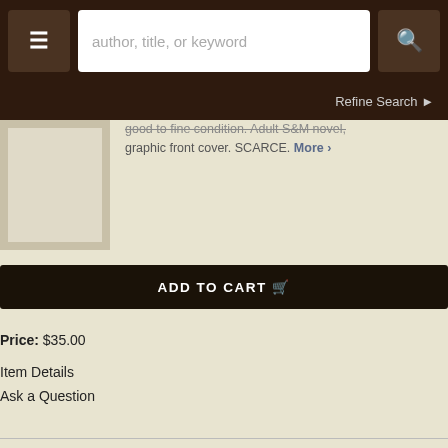author, title, or keyword | Refine Search
good to fine condition. Adult S&M novel, graphic front cover. SCARCE. More ›
ADD TO CART
Price: $35.00
Item Details
Ask a Question
Clark, Dorene
DIFFERNET (spine title "They Dared To Share Everything") [Beacon B311]
(Universal Publishing: NY), (1960). Paperback.